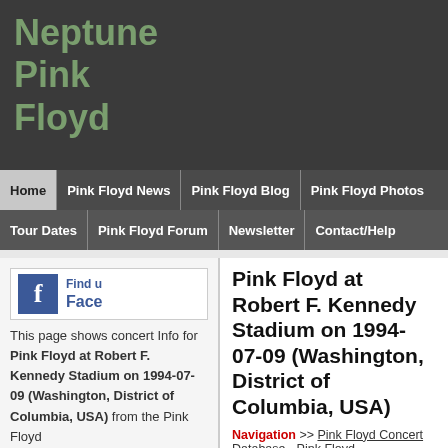Neptune Pink Floyd
Home | Pink Floyd News | Pink Floyd Blog | Pink Floyd Photos | Tour Dates | Pink Floyd Forum | Newsletter | Contact/Help
[Figure (logo): Facebook Find us on Facebook logo/button]
This page shows concert Info for Pink Floyd at Robert F. Kennedy Stadium on 1994-07-09 (Washington, District of Columbia, USA) from the Pink Floyd
Pink Floyd at Robert F. Kennedy Stadium on 1994-07-09 (Washington, District of Columbia, USA)
Navigation >> Pink Floyd Concert Database - Pink Floyd
1 - Concert Information
Click links below to show other concerts based on venue, c
Band/Artist:   Pink Floyd